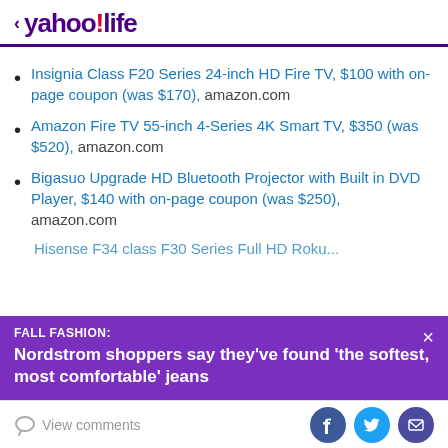< yahoo!life
Insignia Class F20 Series 24-inch HD Fire TV, $100 with on-page coupon (was $170), amazon.com
Amazon Fire TV 55-inch 4-Series 4K Smart TV, $350 (was $520), amazon.com
Bigasuo Upgrade HD Bluetooth Projector with Built in DVD Player, $140 with on-page coupon (was $250), amazon.com
FALL FASHION: Nordstrom shoppers say they've found 'the softest, most comfortable' jeans
View comments